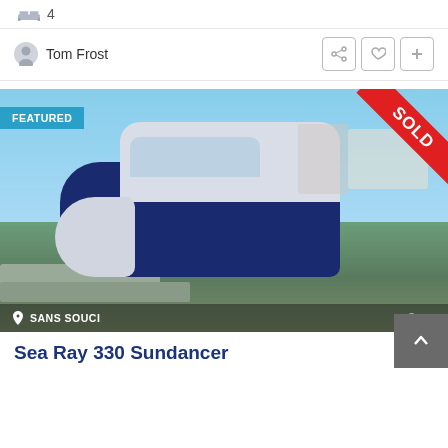4
Tom Frost
[Figure (photo): A blue and white Sea Ray 330 Sundancer motorboat docked at a marina in Sans Souci. The image has a 'FEATURED' badge in teal on the top-left and a red diagonal 'SOLD' ribbon on the top-right. The bottom bar shows location 'SANS SOUCI' and photo count '28'.]
Sea Ray 330 Sundancer